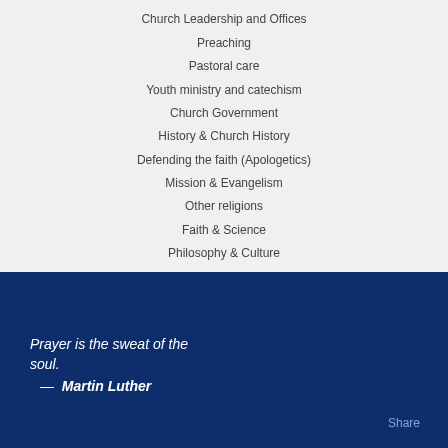Church Leadership and Offices
Preaching
Pastoral care
Youth ministry and catechism
Church Government
History & Church History
Defending the faith (Apologetics)
Mission & Evangelism
Other religions
Faith & Science
Philosophy & Culture
Prayer is the sweat of the soul. — Martin Luther
Share